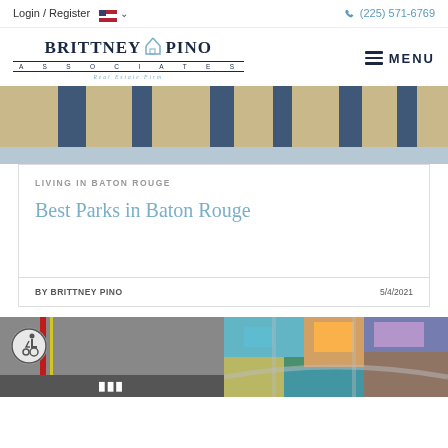Login / Register   (225) 571-6769
[Figure (logo): Brittney Pino & Associates Real Estate Firm logo with house icon]
[Figure (photo): Aerial or street-level photo of buildings with tan and blue-gray colors as hero banner]
LIVING IN BATON ROUGE
Best Parks in Baton Rouge
BY BRITTNEY PINO   5/4/2021
[Figure (photo): Accessibility sign on a road, gray background with wheelchair symbol]
[Figure (photo): Aerial colorful neighborhood photo]